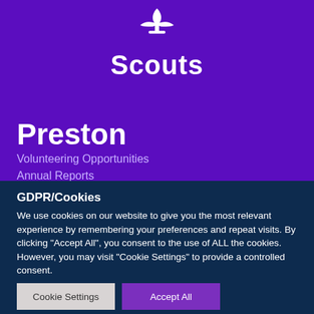[Figure (logo): Scouts fleur-de-lis logo with 'Scouts' text in white on purple background]
Preston
Volunteering Opportunities
Annual Reports
GDPR/Cookies
We use cookies on our website to give you the most relevant experience by remembering your preferences and repeat visits. By clicking "Accept All", you consent to the use of ALL the cookies. However, you may visit "Cookie Settings" to provide a controlled consent.
Cookie Settings
Accept All